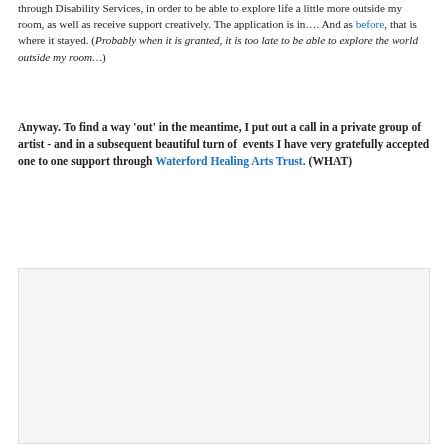through Disability Services, in order to be able to explore life a little more outside my room, as well as receive support creatively. The application is in…. And as before, that is where it stayed. (Probably when it is granted, it is too late to be able to explore the world outside my room…)
Anyway. To find a way 'out' in the meantime, I put out a call in a private group of artist - and in a subsequent beautiful turn of events I have very gratefully accepted one to one support through Waterford Healing Arts Trust. (WHAT)
[Figure (photo): A photograph of a printed document from Waterford Healing Arts Trust titled 'Art & Healing' with event listings and a photo of a woman. The document includes lecture/talk details and artist biographies.]